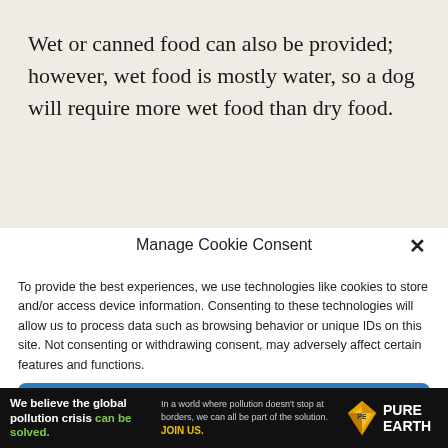Wet or canned food can also be provided; however, wet food is mostly water, so a dog will require more wet food than dry food.
Manage Cookie Consent
To provide the best experiences, we use technologies like cookies to store and/or access device information. Consenting to these technologies will allow us to process data such as browsing behavior or unique IDs on this site. Not consenting or withdrawing consent, may adversely affect certain features and functions.
Accept
[Figure (infographic): Pure Earth advertisement banner with text: 'We believe the global pollution crisis can be solved.' and 'In a world where pollution doesn't stop at borders, we can all be part of the solution. JOIN US.' with Pure Earth logo on right.]